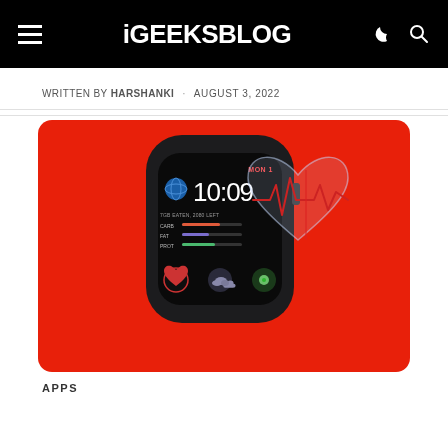iGEEKSBLOG
WRITTEN BY HARSHANKI · AUGUST 3, 2022
[Figure (photo): Apple Watch on red background showing 10:09 time, MON 1 date, nutrition bars for CARB, FAT, PROT, and a glass heart with heartbeat monitor graphic]
APPS